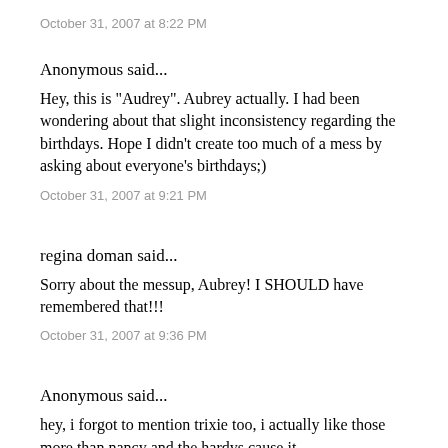October 31, 2007 at 8:22 PM
Anonymous said...
Hey, this is "Audrey". Aubrey actually. I had been wondering about that slight inconsistency regarding the birthdays. Hope I didn't create too much of a mess by asking about everyone's birthdays;)
October 31, 2007 at 9:21 PM
regina doman said...
Sorry about the messup, Aubrey! I SHOULD have remembered that!!!
October 31, 2007 at 9:36 PM
Anonymous said...
hey, i forgot to mention trixie too, i actually like those more than nancy and the hardys cause it